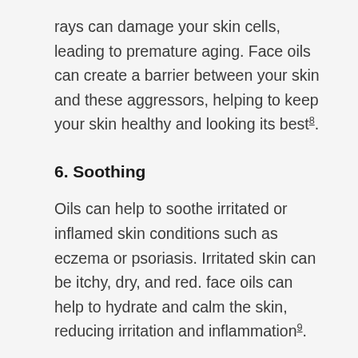rays can damage your skin cells, leading to premature aging. Face oils can create a barrier between your skin and these aggressors, helping to keep your skin healthy and looking its best⁸.
6. Soothing
Oils can help to soothe irritated or inflamed skin conditions such as eczema or psoriasis. Irritated skin can be itchy, dry, and red. face oils can help to hydrate and calm the skin, reducing irritation and inflammation⁹.